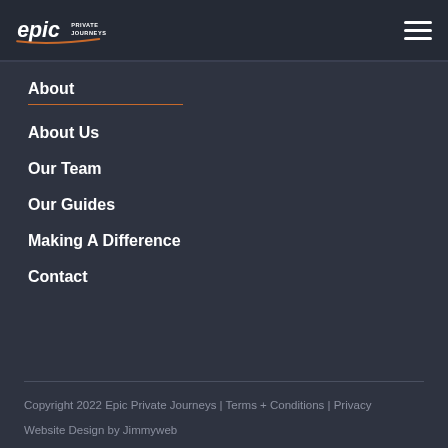[Figure (logo): Epic Private Journeys logo with orange swoosh underline and white italic text, plus hamburger menu icon on the right]
About
About Us
Our Team
Our Guides
Making A Difference
Contact
Copyright 2022 Epic Private Journeys | Terms + Conditions | Privacy
Website Design by Jimmyweb